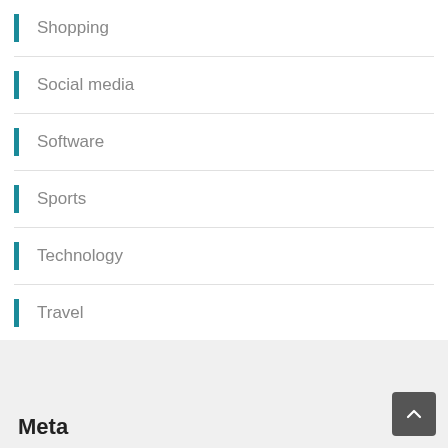Shopping
Social media
Software
Sports
Technology
Travel
Web Design
Meta